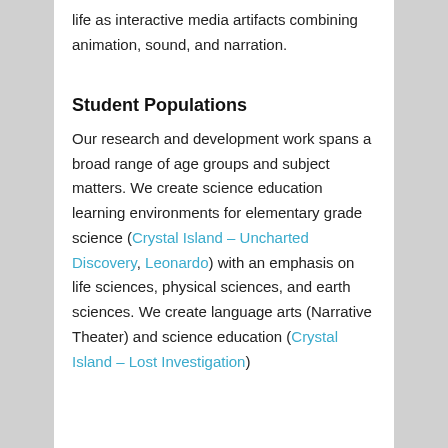life as interactive media artifacts combining animation, sound, and narration.
Student Populations
Our research and development work spans a broad range of age groups and subject matters. We create science education learning environments for elementary grade science (Crystal Island – Uncharted Discovery, Leonardo) with an emphasis on life sciences, physical sciences, and earth sciences. We create language arts (Narrative Theater) and science education (Crystal Island – Lost Investigation)